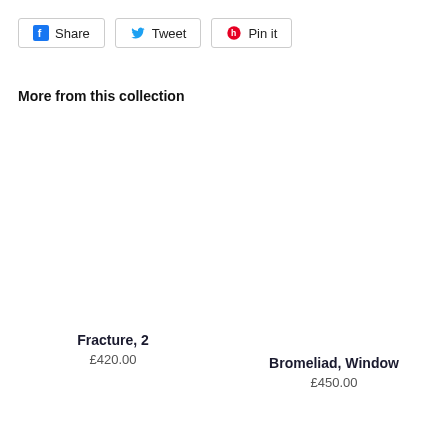[Figure (other): Social share buttons: Facebook Share, Twitter Tweet, Pinterest Pin it]
More from this collection
Fracture, 2
£420.00
Bromeliad, Window
£450.00